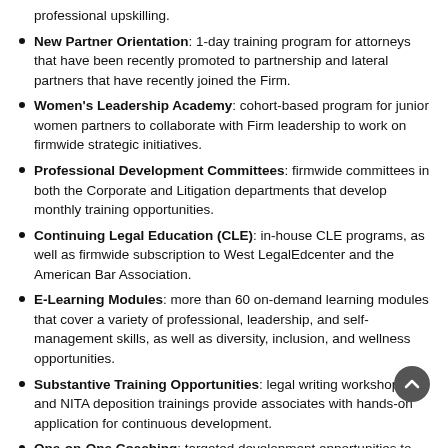professional upskilling.
New Partner Orientation: 1-day training program for attorneys that have been recently promoted to partnership and lateral partners that have recently joined the Firm.
Women's Leadership Academy: cohort-based program for junior women partners to collaborate with Firm leadership to work on firmwide strategic initiatives.
Professional Development Committees: firmwide committees in both the Corporate and Litigation departments that develop monthly training opportunities.
Continuing Legal Education (CLE): in-house CLE programs, as well as firmwide subscription to West LegalEdcenter and the American Bar Association.
E-Learning Modules: more than 60 on-demand learning modules that cover a variety of professional, leadership, and self-management skills, as well as diversity, inclusion, and wellness opportunities.
Substantive Training Opportunities: legal writing workshops and NITA deposition trainings provide associates with hands-on application for continuous development.
One-on-One Coaching: targeted development opportunities to assist attorneys in honing necessary skills.